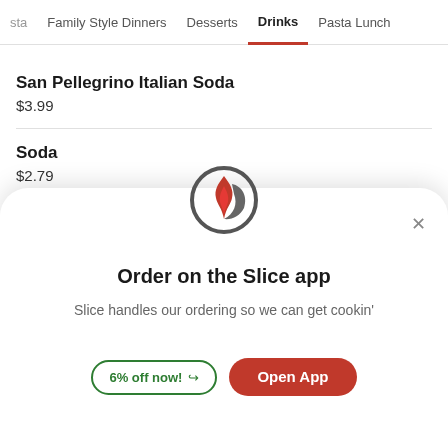sta | Family Style Dinners | Desserts | Drinks | Pasta Lunch
San Pellegrino Italian Soda
$3.99
Soda
$2.79
Wat…
[Figure (logo): Slice app flame logo — red and dark grey flame inside a circle]
Order on the Slice app
Slice handles our ordering so we can get cookin'
6% off now! → Open App